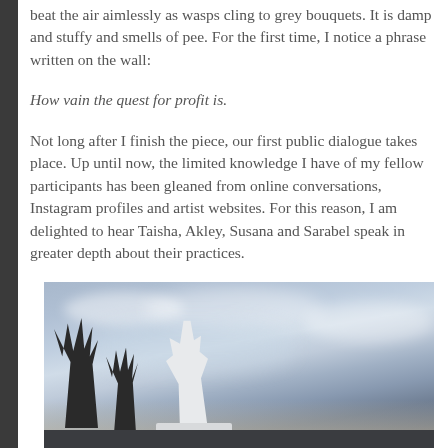beat the air aimlessly as wasps cling to grey bouquets. It is damp and stuffy and smells of pee. For the first time, I notice a phrase written on the wall:
How vain the quest for profit is.
Not long after I finish the piece, our first public dialogue takes place. Up until now, the limited knowledge I have of my fellow participants has been gleaned from online conversations, Instagram profiles and artist websites. For this reason, I am delighted to hear Taisha, Akley, Susana and Sarabel speak in greater depth about their practices.
[Figure (photo): Outdoor photograph showing a cloudy blue-grey sky with palm trees on the left side and a white statue or sculpture in the center, set against a twilight horizon.]